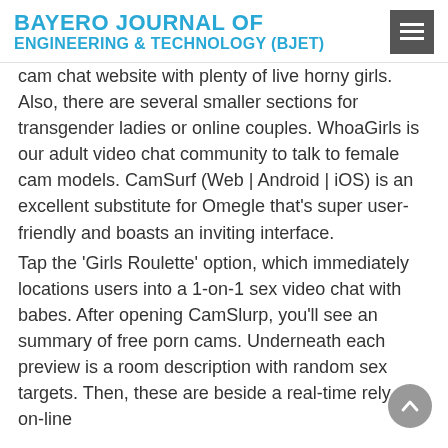BAYERO JOURNAL OF ENGINEERING & TECHNOLOGY (BJET)
cam chat website with plenty of live horny girls. Also, there are several smaller sections for transgender ladies or online couples. WhoaGirls is our adult video chat community to talk to female cam models. CamSurf (Web | Android | iOS) is an excellent substitute for Omegle that's super user-friendly and boasts an inviting interface.
Tap the ‘Girls Roulette’ option, which immediately locations users into a 1-on-1 sex video chat with babes. After opening CamSlurp, you’ll see an summary of free porn cams. Underneath each preview is a room description with random sex targets. Then, these are beside a real-time rely of on-line